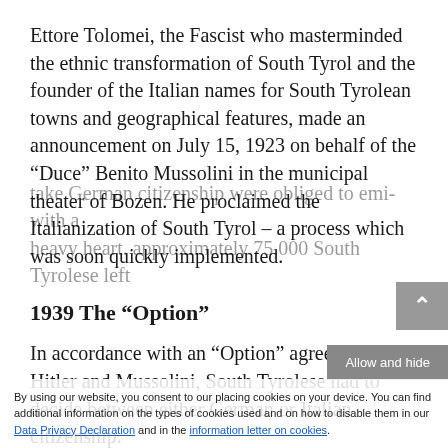Ettore Tolomei, the Fascist who masterminded the ethnic transformation of South Tyrol and the founder of the Italian names for South Tyrolean towns and geographical features, made an announcement on July 15, 1923 on behalf of the “Duce” Benito Mussolini in the municipal theater of Bozen. He proclaimed the Italianization of South Tyrol – a process which was soon quickly implemented.
1939 The “Option”
In accordance with an “Option” agreed upon by Hitler and Mussolini, South Tyrolese had to decide between either German or Italian citizenship.
By using our website, you consent to our placing cookies on your device. You can find additional information on the types of cookies used and on how to disable them in our Data Privacy Declaration and in the information letter on cookies.